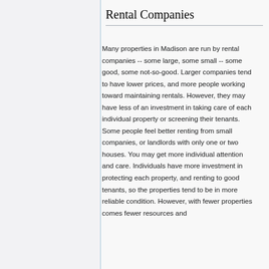Rental Companies
Many properties in Madison are run by rental companies -- some large, some small -- some good, some not-so-good. Larger companies tend to have lower prices, and more people working toward maintaining rentals. However, they may have less of an investment in taking care of each individual property or screening their tenants. Some people feel better renting from small companies, or landlords with only one or two houses. You may get more individual attention and care. Individuals have more investment in protecting each property, and renting to good tenants, so the properties tend to be in more reliable condition. However, with fewer properties comes fewer resources and